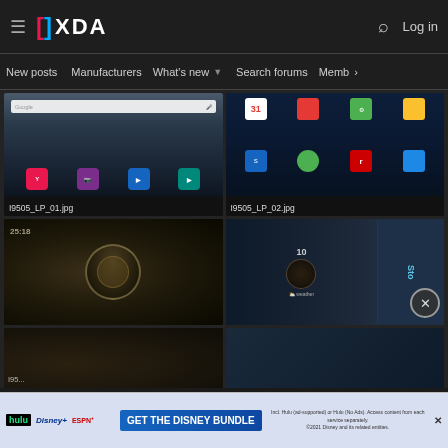XDA — Navigation: New posts | Manufacturers | What's new | Search forums | Members
[Figure (screenshot): XDA Developers website screenshot showing image gallery with Android screenshots. Row 1: I9505_LP_01.jpg (Samsung Galaxy S4 lollipop screenshot with Google search bar and app icons), I9505_LP_02.jpg (Samsung Galaxy S4 homescreen with widgets and app icons). Row 2: Two more screenshots of analog clock wallpaper. Row 3: Partial screenshots. Disney Bundle advertisement banner at bottom.]
I9505_LP_01.jpg
I9505_LP_02.jpg
I95...
[Figure (screenshot): Disney Bundle advertisement: Hulu, Disney+, ESPN+ logos with 'GET THE DISNEY BUNDLE' CTA. Fine print: Incl. Hulu (ad-supported) or Hulu (No Ads). Access content from each service separately. ©2021 Disney and its related entities.]